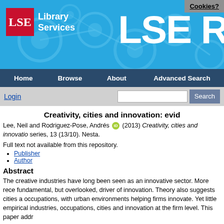[Figure (screenshot): LSE Library Services banner header with blue background, molecule/network graphic, LSE red logo box, 'Library Services' text, and partial 'LSE R' text on right. Cookies button in top right corner.]
Cookies?
Home   Browse   About   Advanced Search
Creativity, cities and innovation: evid
Lee, Neil and Rodriguez-Pose, Andrés (2013) Creativity, cities and innovatio series, 13 (13/10). Nesta.
Full text not available from this repository.
Publisher
Author
Abstract
The creative industries have long been seen as an innovative sector. More rece fundamental, but overlooked, driver of innovation. Theory also suggests cities a occupations, with urban environments helping firms innovate. Yet little empirical industries, occupations, cities and innovation at the firm level. This paper addr